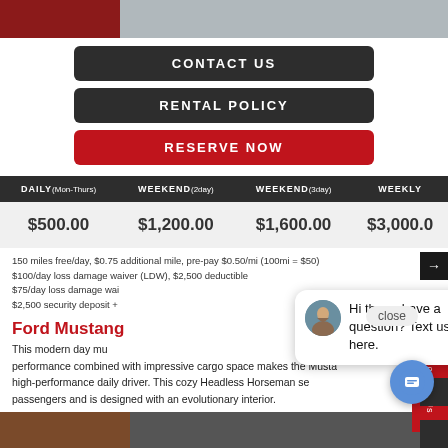[Figure (photo): Top section showing partial car images - red car on left, winter outdoor scene on right]
CONTACT US
RENTAL POLICY
RESERVE NOW
| DAILY (Mon-Thurs) | WEEKEND (2day) | WEEKEND (3day) | WEEKLY |
| --- | --- | --- | --- |
| $500.00 | $1,200.00 | $1,600.00 | $3,000.0... |
150 miles free/day, $0.75 additional mile, pre-pay $0.50/mi (100mi = $50)
$100/day loss damage waiver (LDW), $2,500 deductible
$75/day loss damage wai...
$2,500 security deposit +...
Ford Mustang
This modern day mu... performance combined with impressive cargo space makes the Musta... high-performance daily driver. This cozy Headless Horseman se... passengers and is designed with an evolutionary interior.
[Figure (screenshot): Chat popup with avatar photo of woman and text: Hi there, have a question? Text us here.]
[Figure (photo): Bottom car images - brick building and dark car]